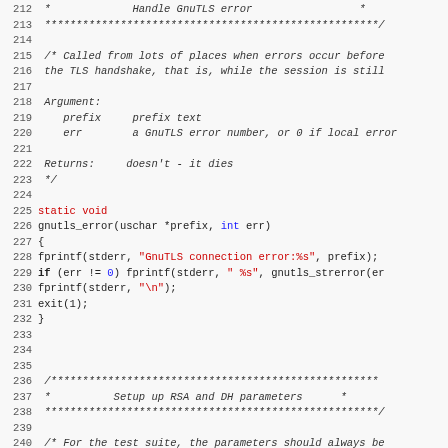Source code listing, lines 212-243, showing gnutls_error function and beginning of RSA/DH parameter setup function in C